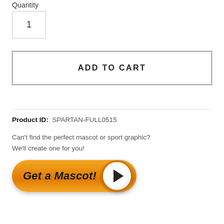Quantity
1
ADD TO CART
Product ID:  SPARTAN-FULL0515
Can't find the perfect mascot or sport graphic?
We'll create one for you!
[Figure (illustration): Orange pill-shaped button with bold italic text 'Get a Mascot!' and a white play button circle on the right]